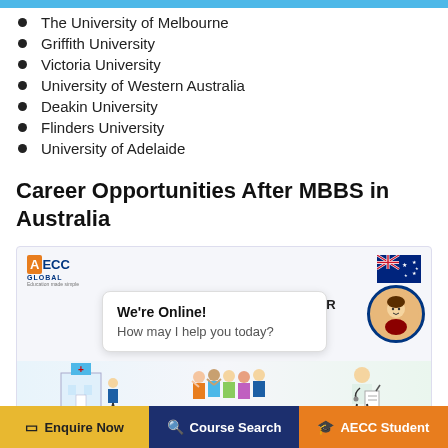The University of Melbourne
Griffith University
Victoria University
University of Western Australia
Deakin University
Flinders University
University of Adelaide
Career Opportunities After MBBS in Australia
[Figure (infographic): AECC Global branded infographic about Career Opportunities After MBBS in Australia, with Australian flag, chat popup saying 'We're Online! How may I help you today?', avatar, and people illustrations at the bottom.]
Enquire Now | Course Search | AECC Student